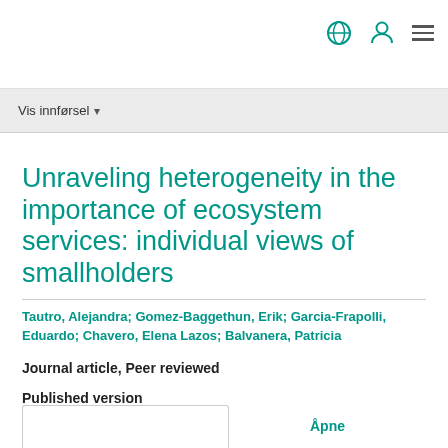Vis innførsel
Unraveling heterogeneity in the importance of ecosystem services: individual views of smallholders
Tautro, Alejandra; Gomez-Baggethun, Erik; Garcia-Frapolli, Eduardo; Chavero, Elena Lazos; Balvanera, Patricia
Journal article, Peer reviewed
Published version